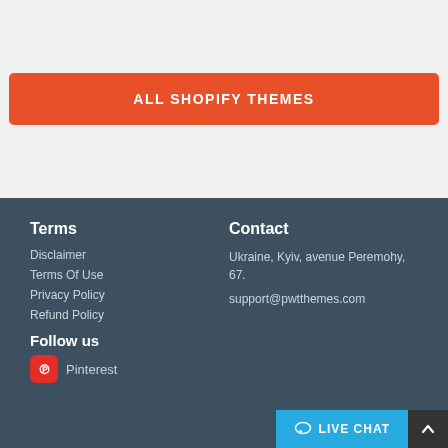ALL SHOPIFY THEMES
Terms
Disclaimer
Terms Of Use
Privacy Policy
Refund Policy
Follow us
Pinterest
Contact
Ukraine, Kyiv, avenue Peremohy, 67.
support@pwtthemes.com
LIVE CHAT